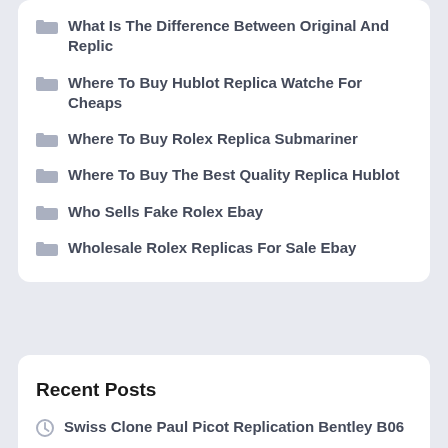What Is The Difference Between Original And Replic
Where To Buy Hublot Replica Watche For Cheaps
Where To Buy Rolex Replica Submariner
Where To Buy The Best Quality Replica Hublot
Who Sells Fake Rolex Ebay
Wholesale Rolex Replicas For Sale Ebay
Recent Posts
Swiss Clone Paul Picot Replication Bentley B06
Wish A Replica Vacheron Constantin Price List